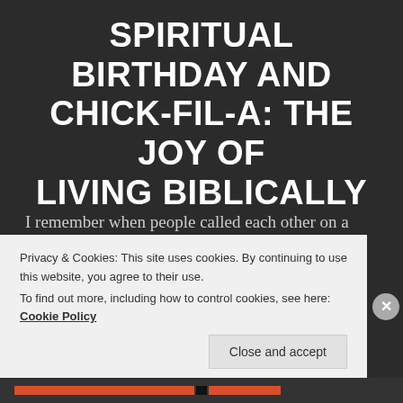SPIRITUAL BIRTHDAY AND CHICK-FIL-A: THE JOY OF LIVING BIBLICALLY
I remember when people called each other on a device called a rotary telephone. The first house Janet and I owned had a shelf built into a wall in the entryway where such a phone was meant to reside. You could get an extension cord that enabled you to...
Privacy & Cookies: This site uses cookies. By continuing to use this website, you agree to their use.
To find out more, including how to control cookies, see here: Cookie Policy
Close and accept